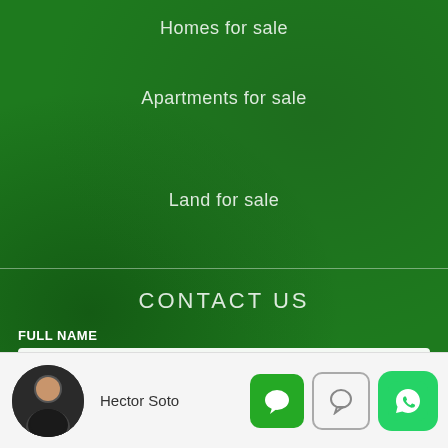Homes for sale
Apartments for sale
Land for sale
CONTACT US
FULL NAME
EMAIL
PHONE NUMBER
Hector Soto